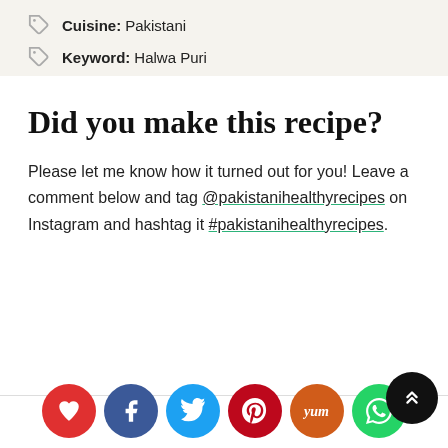Cuisine: Pakistani
Keyword: Halwa Puri
Did you make this recipe?
Please let me know how it turned out for you! Leave a comment below and tag @pakistanihealthyrecipes on Instagram and hashtag it #pakistanihealthyrecipes.
[Figure (infographic): Social sharing buttons: heart (red), Facebook (blue), Twitter (sky blue), Pinterest (crimson), Yummly (orange), WhatsApp (green). A dark scroll-to-top button is on the right.]